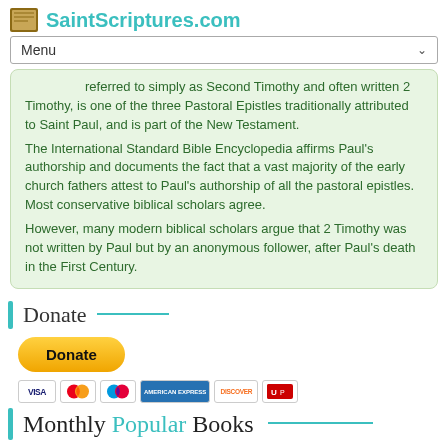SaintScriptures.com
referred to simply as Second Timothy and often written 2 Timothy, is one of the three Pastoral Epistles traditionally attributed to Saint Paul, and is part of the New Testament.
The International Standard Bible Encyclopedia affirms Paul's authorship and documents the fact that a vast majority of the early church fathers attest to Paul's authorship of all the pastoral epistles. Most conservative biblical scholars agree.
However, many modern biblical scholars argue that 2 Timothy was not written by Paul but by an anonymous follower, after Paul's death in the First Century.
Donate
[Figure (other): PayPal Donate button (yellow rounded rectangle with black bold 'Donate' text) and payment card icons: Visa, Mastercard, Maestro, American Express, Discover, UnionPay]
Monthly Popular Books